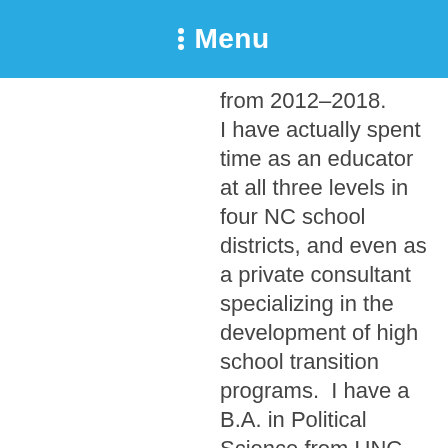Menu
from 2012–2018. I have actually spent time as an educator at all three levels in four NC school districts, and even as a private consultant specializing in the development of high school transition programs.  I have a B.A. in Political Science from UNC–Greensboro, a